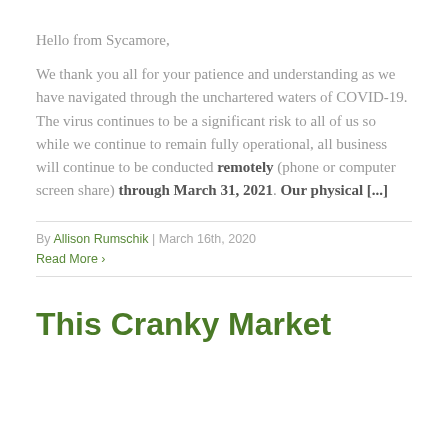Hello from Sycamore,
We thank you all for your patience and understanding as we have navigated through the unchartered waters of COVID-19. The virus continues to be a significant risk to all of us so while we continue to remain fully operational, all business will continue to be conducted remotely (phone or computer screen share) through March 31, 2021. Our physical [...]
By Allison Rumschik | March 16th, 2020
Read More ›
This Cranky Market